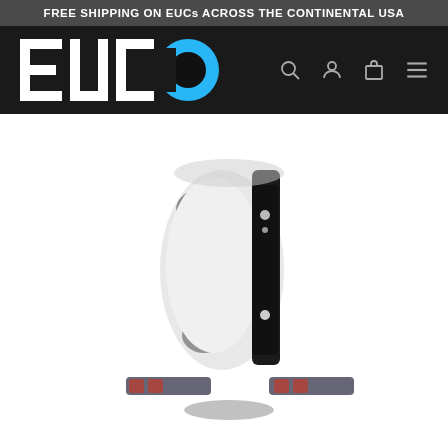FREE SHIPPING ON EUCs ACROSS THE CONTINENTAL USA
[Figure (logo): EUCO brand logo with white block letters E, U, C and a blue circle with black center for the O, on a dark/black background]
[Figure (photo): Electric unicycle (EUC) product photo showing a white and black self-balancing electric unicycle with gray knee pads and colorful footrests/pedals at the bottom, photographed on a white background]